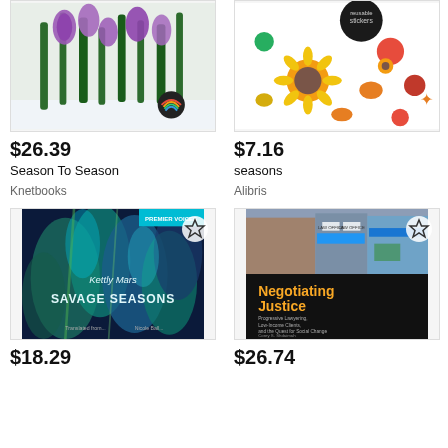[Figure (photo): Book cover: Season To Season – crocus flowers in snow with a rainbow sticker]
$26.39
Season To Season
Knetbooks
[Figure (photo): Book cover: seasons – colorful fruits and vegetables reusable stickers]
$7.16
seasons
Alibris
[Figure (photo): Book cover: Savage Seasons by Kettly Mars – blue and green foliage]
$18.29
[Figure (photo): Book cover: Negotiating Justice – storefront photo with yellow/black cover]
$26.74